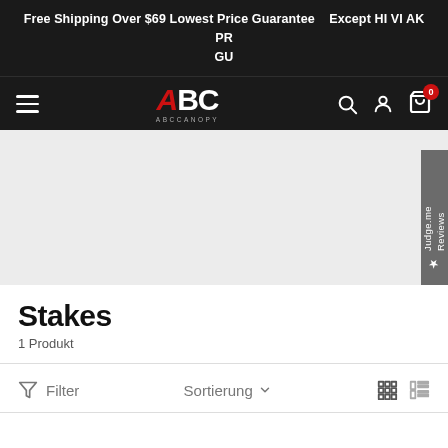Free Shipping Over $69 Lowest Price Guarantee  Except HI VI AK PR GU
[Figure (screenshot): ABCCanopy e-commerce navigation bar with hamburger menu, ABC logo, search icon, account icon, and cart icon with 0 items badge]
[Figure (screenshot): Gray hero/banner area with Judge.me Reviews side tab on the right]
Stakes
1 Produkt
Filter  Sortierung  (grid and list view icons)